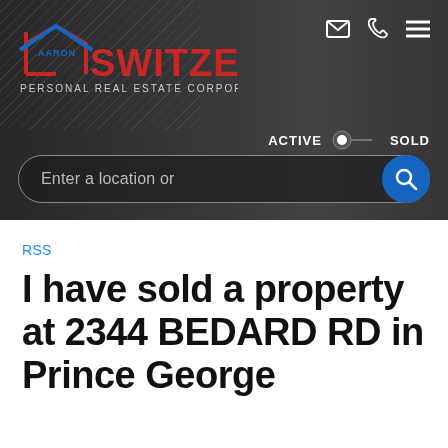[Figure (screenshot): Aaron Switzer Personal Real Estate Corporation website header with logo, navigation icons (email, phone, menu), Active/Sold toggle, and search bar with blue search button.]
RSS
I have sold a property at 2344 BEDARD RD in Prince George